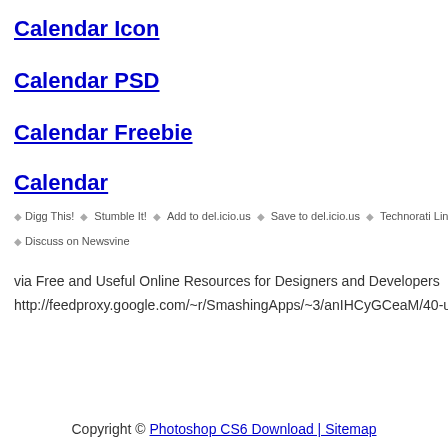Calendar Icon
Calendar PSD
Calendar Freebie
Calendar
Digg This!
Stumble It!
Add to del.icio.us
Save to del.icio.us
Technorati Lin
Discuss on Newsvine
via Free and Useful Online Resources for Designers and Developers
http://feedproxy.google.com/~r/SmashingApps/~3/anIHCyGCeaM/40-useful
Copyright © Photoshop CS6 Download | Sitemap